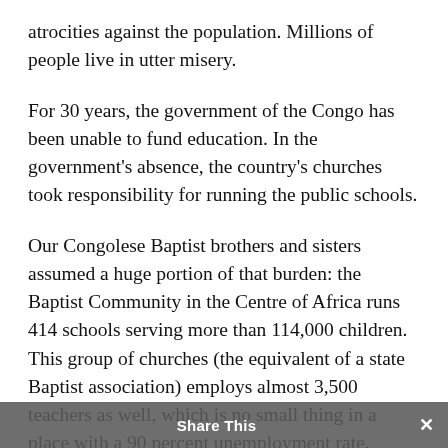atrocities against the population. Millions of people live in utter misery.
For 30 years, the government of the Congo has been unable to fund education. In the government's absence, the country's churches took responsibility for running the public schools.
Our Congolese Baptist brothers and sisters assumed a huge portion of that burden: the Baptist Community in the Centre of Africa runs 414 schools serving more than 114,000 children. This group of churches (the equivalent of a state Baptist association) employs almost 3,500 teachers as well, which is no small thing in a place with a 90 percent unemployment rate. These are not religious schools–they are public schools, open to all children
Share This ×